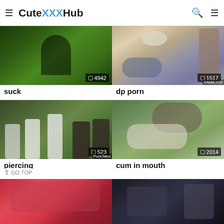CuteXXXHub
[Figure (screenshot): Video thumbnail with green tint showing a silhouette figure, view count 4942]
suck
[Figure (screenshot): Video thumbnail showing bedroom scene, view count 1517]
dp porn
[Figure (screenshot): Video thumbnail showing outdoor group in white t-shirts, view count 523]
piercing
GO TOP
[Figure (screenshot): Video thumbnail showing outdoor grass scene, view count 2014]
cum in mouth
[Figure (screenshot): Video thumbnail bottom left, partially visible]
[Figure (screenshot): Video thumbnail bottom right, partially visible]